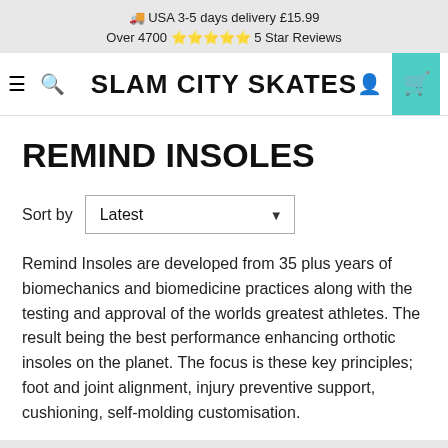🚚 USA 3-5 days delivery £15.99
Over 4700 ⭐⭐⭐⭐⭐ 5 Star Reviews
SLAM CITY SKATES
REMIND INSOLES
Sort by Latest
Remind Insoles are developed from 35 plus years of biomechanics and biomedicine practices along with the testing and approval of the worlds greatest athletes. The result being the best performance enhancing orthotic insoles on the planet. The focus is these key principles; foot and joint alignment, injury preventive support, cushioning, self-molding customisation.
Filter